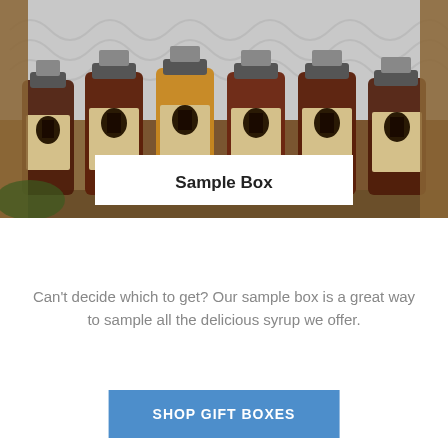[Figure (photo): A wooden box filled with multiple small maple syrup bottles with moose brand labels, wrapped in silver foil, including dark amber and golden varieties.]
Sample Box
Can't decide which to get? Our sample box is a great way to sample all the delicious syrup we offer.
SHOP GIFT BOXES